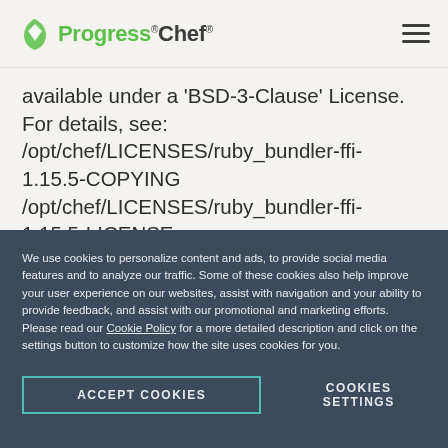Progress Chef
available under a 'BSD-3-Clause' License. For details, see: /opt/chef/LICENSES/ruby_bundler-ffi-1.15.5-COPYING /opt/chef/LICENSES/ruby_bundler-ffi-1.15.5-LICENSE
This product includes corefoundation 0.3.13 which is a 'ruby-bundler' dependency of 'chef', and which
We use cookies to personalize content and ads, to provide social media features and to analyze our traffic. Some of these cookies also help improve your user experience on our websites, assist with navigation and your ability to provide feedback, and assist with our promotional and marketing efforts. Please read our Cookie Policy for a more detailed description and click on the settings button to customize how the site uses cookies for you.
ACCEPT COOKIES
COOKIES SETTINGS